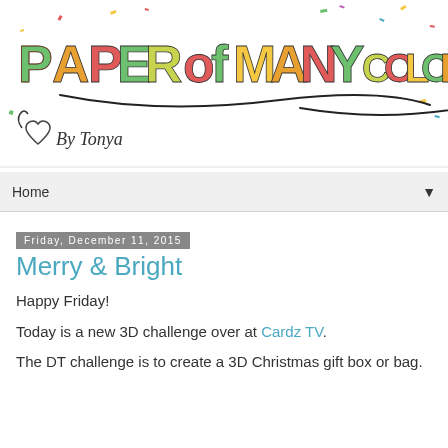[Figure (illustration): Blog header banner reading 'Paper of Many Colors' in colorful graffiti-style lettering with confetti and a decorative script signature 'By Tonya' with a heart, plus looping pen strokes underneath.]
Home ▼
Friday, December 11, 2015
Merry & Bright
Happy Friday!
Today is a new 3D challenge over at Cardz TV.
The DT challenge is to create a 3D Christmas gift box or bag.